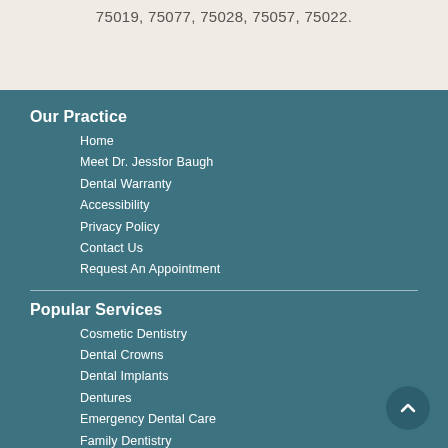75019, 75077, 75028, 75057, 75022.
Our Practice
Home
Meet Dr. Jessfor Baugh
Dental Warranty
Accessibility
Privacy Policy
Contact Us
Request An Appointment
Popular Services
Cosmetic Dentistry
Dental Crowns
Dental Implants
Dentures
Emergency Dental Care
Family Dentistry
Gum Disease Treatment
Porcelain Veneers